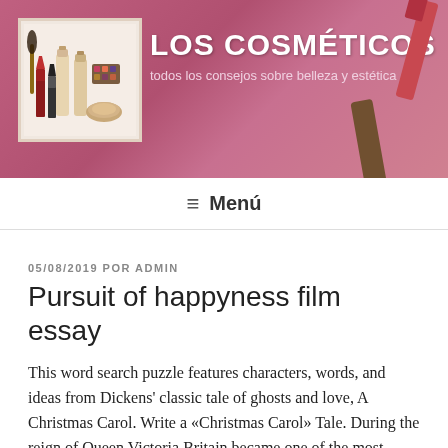[Figure (screenshot): Website header banner for 'Los Cosméticos' blog with cosmetics product photo on left and site title/tagline on right, over a pink/mauve background with makeup items]
LOS COSMÉTICOS — todos los consejos sobre belleza y estética
≡ Menú
05/08/2019 POR ADMIN
Pursuit of happyness film essay
This word search puzzle features characters, words, and ideas from Dickens' classic tale of ghosts and love, A Christmas Carol. Write a «Christmas Carol» Tale. During the reign of Queen Victoria Britain became one of the most Industrialised countries in European. A Christmas Carol Essay a christmas carol essay Our free grammar checker instantly eliminates grammatical errors and